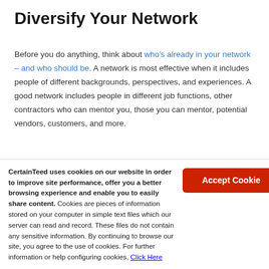Diversify Your Network
Before you do anything, think about who’s already in your network – and who should be. A network is most effective when it includes people of different backgrounds, perspectives, and experiences. A good network includes people in different job functions, other contractors who can mentor you, those you can mentor, potential vendors, customers, and more.
Look at your current network to see who is and isn’t represented. If you see gaps in certain areas, consider focusing on those
CertainTeed uses cookies on our website in order to improve site performance, offer you a better browsing experience and enable you to easily share content. Cookies are pieces of information stored on your computer in simple text files which our server can read and record. These files do not contain any sensitive information. By continuing to browse our site, you agree to the use of cookies. For further information or help configuring cookies, Click Here